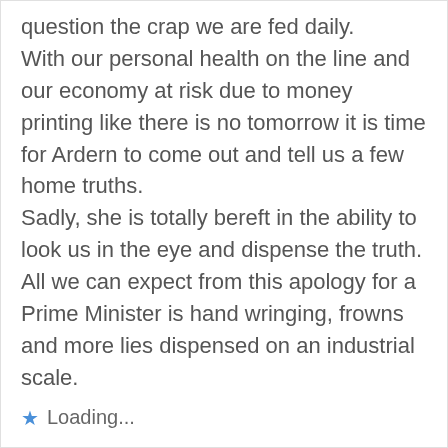question the crap we are fed daily. With our personal health on the line and our economy at risk due to money printing like there is no tomorrow it is time for Ardern to come out and tell us a few home truths. Sadly, she is totally bereft in the ability to look us in the eye and dispense the truth. All we can expect from this apology for a Prime Minister is hand wringing, frowns and more lies dispensed on an industrial scale.
Loading...